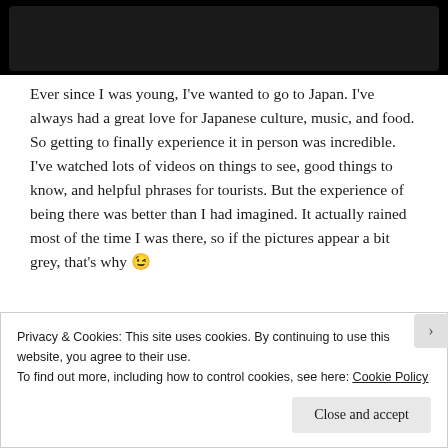[Figure (photo): Dark/black image area at top of page, appears to be a screenshot with a black background.]
Ever since I was young, I've wanted to go to Japan. I've always had a great love for Japanese culture, music, and food. So getting to finally experience it in person was incredible. I've watched lots of videos on things to see, good things to know, and helpful phrases for tourists. But the experience of being there was better than I had imagined. It actually rained most of the time I was there, so if the pictures appear a bit grey, that's why 😉
Day 1
Privacy & Cookies: This site uses cookies. By continuing to use this website, you agree to their use.
To find out more, including how to control cookies, see here: Cookie Policy
Close and accept